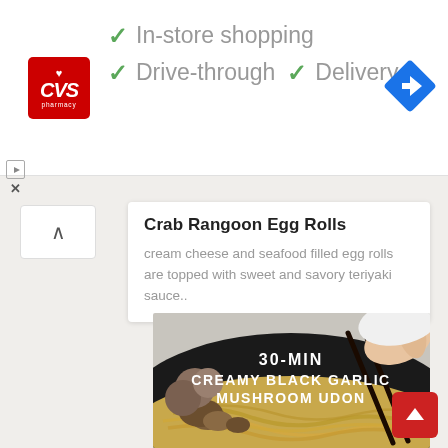[Figure (screenshot): CVS Pharmacy advertisement banner with checkmarks for In-store shopping, Drive-through, and Delivery services, plus a navigation/maps icon]
Crab Rangoon Egg Rolls
cream cheese and seafood filled egg rolls are topped with sweet and savory teriyaki sauce..
[Figure (photo): 30-MIN CREAMY BLACK GARLIC MUSHROOM UDON - photo of udon noodles in a dark pan with mushrooms, being lifted with chopsticks, with text overlay]